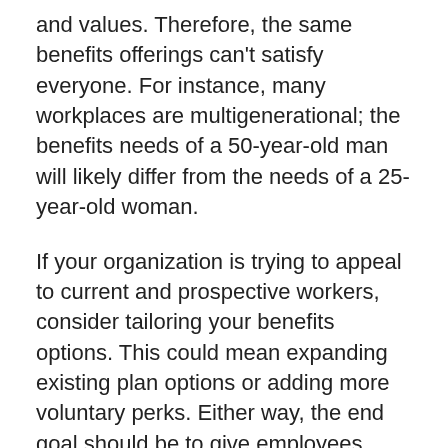Different employees have different needs and values. Therefore, the same benefits offerings can't satisfy everyone. For instance, many workplaces are multigenerational; the benefits needs of a 50-year-old man will likely differ from the needs of a 25-year-old woman.
If your organization is trying to appeal to current and prospective workers, consider tailoring your benefits options. This could mean expanding existing plan options or adding more voluntary perks. Either way, the end goal should be to give employees greater control over selecting benefits that are meaningful to them.
PERSONALIZED BENEFITS